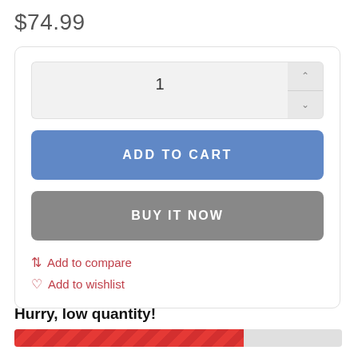$74.99
[Figure (screenshot): E-commerce product purchase widget with quantity selector showing '1', 'ADD TO CART' blue button, 'BUY IT NOW' gray button, 'Add to compare' and 'Add to wishlist' links in red/pink, 'Hurry, low quantity!' text, and a 70% completed striped red progress bar.]
Hurry, low quantity!